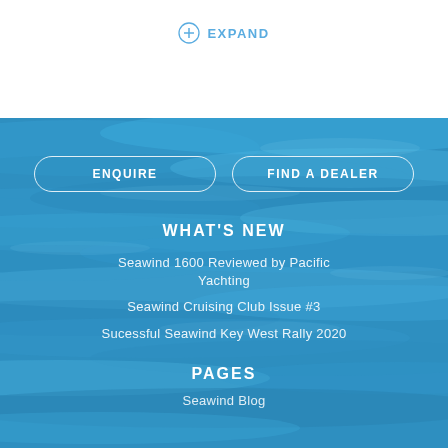EXPAND
ENQUIRE
FIND A DEALER
WHAT'S NEW
Seawind 1600 Reviewed by Pacific Yachting
Seawind Cruising Club Issue #3
Sucessful Seawind Key West Rally 2020
PAGES
Seawind Blog